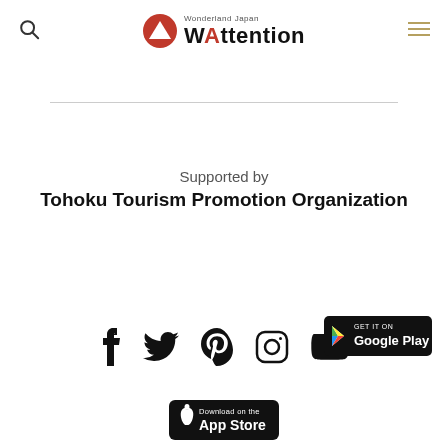Wonderland Japan WAttention
Supported by
Tohoku Tourism Promotion Organization
[Figure (other): Social media icons row: Facebook, Twitter, Pinterest, Instagram, YouTube]
[Figure (other): Google Play download badge]
[Figure (other): App Store download badge (partially visible)]